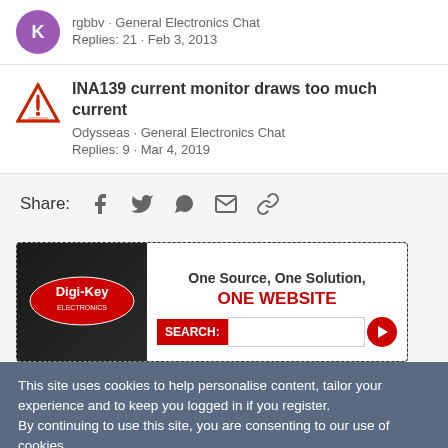rgbbv · General Electronics Chat
Replies: 21 · Feb 3, 2013
INA139 current monitor draws too much current
Odysseas · General Electronics Chat
Replies: 9 · Mar 4, 2019
Share:
[Figure (infographic): Digi-Key Electronics advertisement: One Source, One Solution, ONE WEBSITE with search bar]
This site uses cookies to help personalise content, tailor your experience and to keep you logged in if you register.
By continuing to use this site, you are consenting to our use of cookies.
✓ Accept    Learn more...